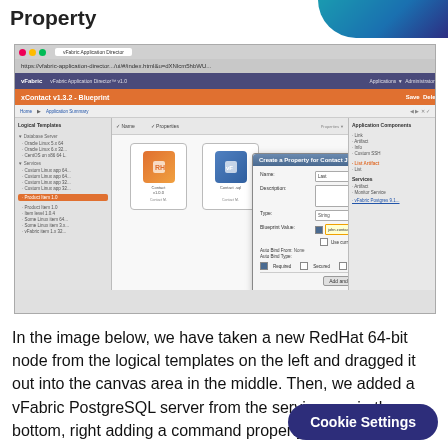Property
[Figure (screenshot): Screenshot of vFabric Application Director web application showing the blueprint canvas with node thumbnails, a 'Create a Property for Contact' dialog box open, and left/right panels with templates and services.]
In the image below, we have taken a new RedHat 64-bit node from the logical templates on the left and dragged it out into the canvas area in the middle. Then, we added a vFabric PostgreSQL server from the services on in the bottom, right adding a command property—it's